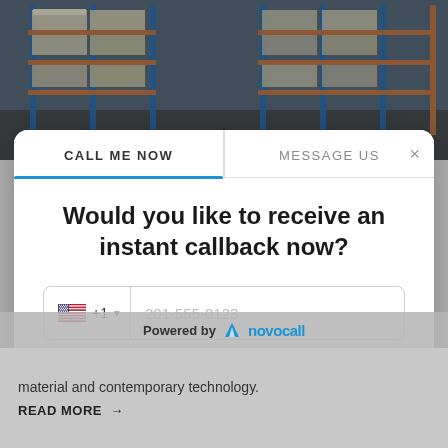[Figure (photo): Warehouse interior with blue and orange metal shelving racks loaded with palletized goods in large bags]
[Figure (screenshot): Modal dialog with two tabs: CALL ME NOW (active, blue underline) and MESSAGE US, with an X close button. Contains heading 'Would you like to receive an instant callback now?', a phone input field with US flag +1 country code and placeholder 201-555-0123, and two buttons: CALL ME LATER (outlined) and CALL ME NOW (blue filled).]
material and contemporary technology.
Powered by novocall
READ MORE →